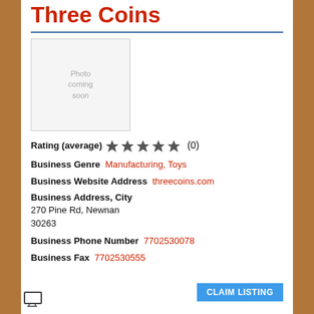Three Coins
[Figure (photo): Photo coming soon placeholder box]
Rating (average) ★★★★★ (0)
Business Genre Manufacturing, Toys
Business Website Address threecoins.com
Business Address, City
270 Pine Rd, Newnan
30263
Business Phone Number 7702530078
Business Fax 7702530555